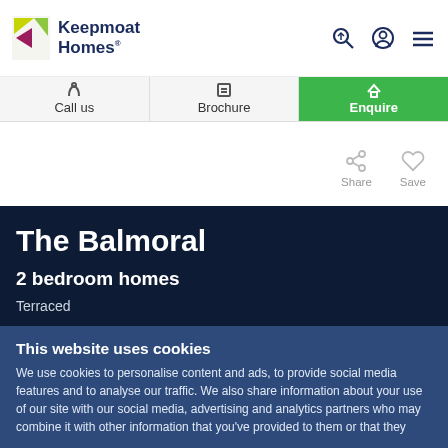[Figure (logo): Keepmoat Homes logo with yellow/green and magenta arrow icon and dark blue text]
Call us | Brochure | Enquire
Share  Save
The Balmoral
2 bedroom homes
Terraced
This website uses cookies
We use cookies to personalise content and ads, to provide social media features and to analyse our traffic. We also share information about your use of our site with our social media, advertising and analytics partners who may combine it with other information that you've provided to them or that they